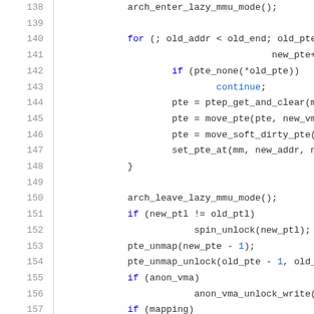[Figure (screenshot): Source code listing showing lines 138-158 of a C kernel file with syntax highlighting. Line numbers in gray on the left, keywords in blue, continuation keyword in blue.]